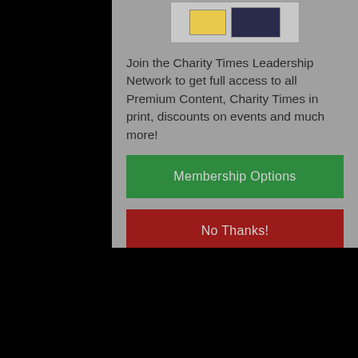[Figure (screenshot): Partial screenshot of a device/screen mockup showing a laptop-like display with colored blocks]
Join the Charity Times Leadership Network to get full access to all Premium Content, Charity Times in print, discounts on events and much more!
Membership Options
No Thanks!